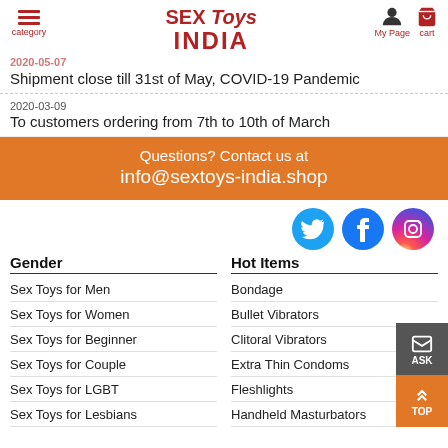SEX Toys INDIA — category | My Page | cart
2020-05-07
Shipment close till 31st of May, COVID-19 Pandemic
2020-03-09
To customers ordering from 7th to 10th of March
Questions? Contact us at
info@sextoys-india.shop
[Figure (illustration): Social media icons: Twitter (blue bird), Facebook (dark blue f), Instagram (gradient camera)]
Gender
Sex Toys for Men
Sex Toys for Women
Sex Toys for Beginner
Sex Toys for Couple
Sex Toys for LGBT
Sex Toys for Lesbians
Hot Items
Bondage
Bullet Vibrators
Clitoral Vibrators
Extra Thin Condoms
Fleshlights
Handheld Masturbators